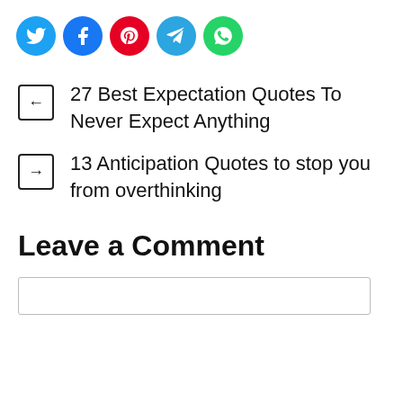[Figure (other): Row of five social media share buttons: Twitter (blue), Facebook (dark blue), Pinterest (red), Telegram (blue), WhatsApp (green)]
← 27 Best Expectation Quotes To Never Expect Anything
→ 13 Anticipation Quotes to stop you from overthinking
Leave a Comment